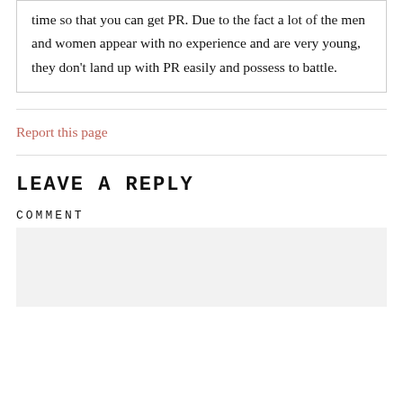time so that you can get PR. Due to the fact a lot of the men and women appear with no experience and are very young, they don't land up with PR easily and possess to battle.
Report this page
LEAVE A REPLY
COMMENT